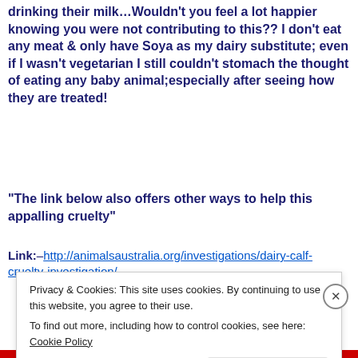drinking their milk...Wouldn't you feel a lot happier knowing you were not contributing to this?? I don't eat any meat & only have Soya as my dairy substitute; even if I wasn't vegetarian I still couldn't stomach the thought of eating any baby animal;especially after seeing how they are treated!
“The link below also offers other ways to help this appalling cruelty”
Link:–http://animalsaustralia.org/investigations/dairy-calf-cruelty-investigation/
Privacy & Cookies: This site uses cookies. By continuing to use this website, you agree to their use.
To find out more, including how to control cookies, see here: Cookie Policy